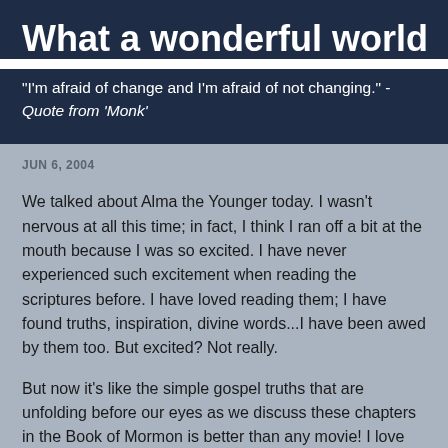What a wonderful world
"I'm afraid of change and I'm afraid of not changing." - Quote from 'Monk'
JUN 6, 2004
We talked about Alma the Younger today. I wasn't nervous at all this time; in fact, I think I ran off a bit at the mouth because I was so excited. I have never experienced such excitement when reading the scriptures before. I have loved reading them; I have found truths, inspiration, divine words...I have been awed by them too. But excited? Not really.
But now it's like the simple gospel truths that are unfolding before our eyes as we discuss these chapters in the Book of Mormon is better than any movie! I love how reading the scriptures and studying the lessons to be taught reconfirms the gospel and personal truths I have learned in my lifetime;